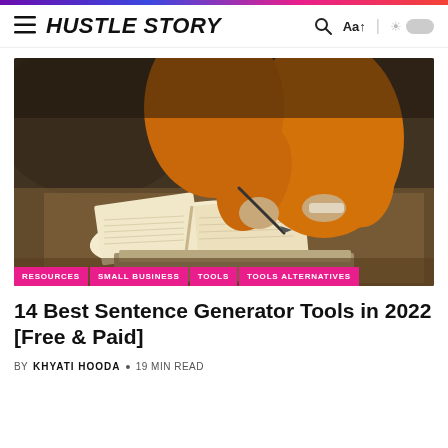HUSTLE STORY
[Figure (photo): A person wearing an orange/yellow jacket writing in an open notebook with a pen, photographed from above in a warm sepia-toned setting]
RESOURCES · SMALL BUSINESS · TOOLS · TOOLS ALTERNATIVES
14 Best Sentence Generator Tools in 2022 [Free & Paid]
BY KHYATI HOODA • 19 MIN READ